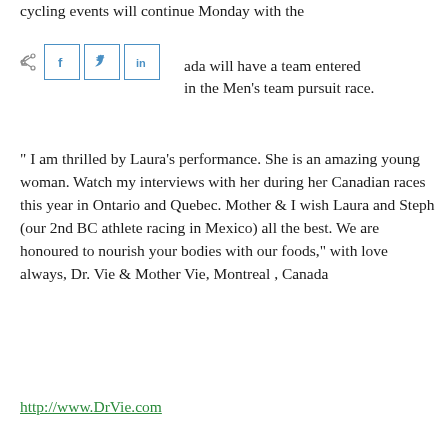cycling events will continue Monday with the trac... ada will have a team entered in the Men's team pursuit race.
[Figure (other): Social share buttons: share icon, Facebook (f), Twitter (bird), LinkedIn (in)]
" I am thrilled by Laura's performance. She is an amazing young woman. Watch my interviews with her during her Canadian races this year in Ontario and Quebec. Mother & I wish Laura and Steph (our 2nd BC athlete racing in Mexico) all the best. We are honoured to nourish your bodies with our foods," with love always, Dr. Vie & Mother Vie, Montreal , Canada
http://www.DrVie.com